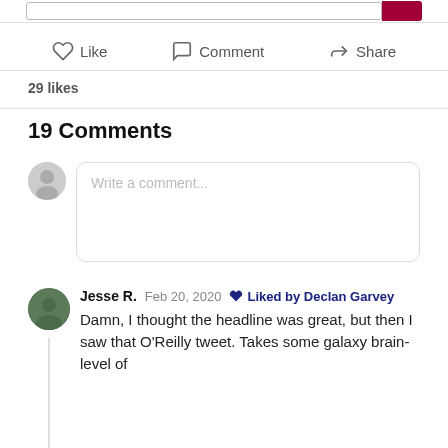Like   Comment   Share
29 likes
19 Comments
Write a comment...
Jesse R.   Feb 20, 2020   ♥ Liked by Declan Garvey
Damn, I thought the headline was great, but then I saw that O'Reilly tweet. Takes some galaxy brain-level of